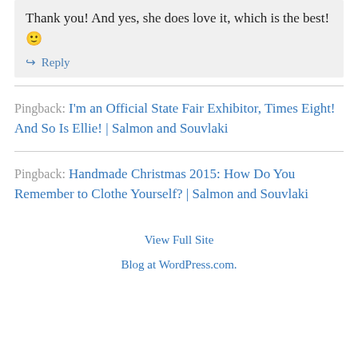Thank you! And yes, she does love it, which is the best! 🙂
↪ Reply
Pingback: I'm an Official State Fair Exhibitor, Times Eight! And So Is Ellie! | Salmon and Souvlaki
Pingback: Handmade Christmas 2015: How Do You Remember to Clothe Yourself? | Salmon and Souvlaki
View Full Site
Blog at WordPress.com.